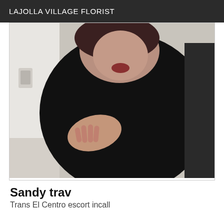LAJOLLA VILLAGE FLORIST
[Figure (photo): A person wearing a black turtleneck sweater photographed from above, leaning forward with one hand on their side. The background shows a white wall and tiled floor.]
Sandy trav
Trans El Centro escort incall